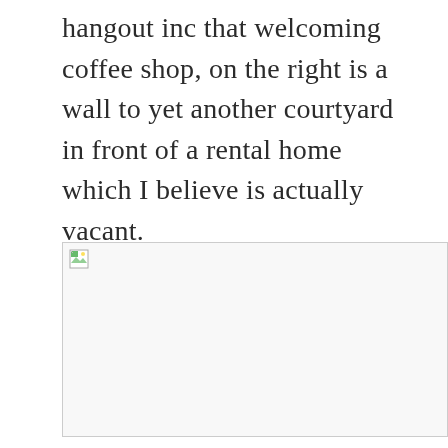hangout inc that welcoming coffee shop, on the right is a wall to yet another courtyard in front of a rental home which I believe is actually vacant.
[Figure (photo): Broken/unloaded image placeholder with small icon in top-left corner]